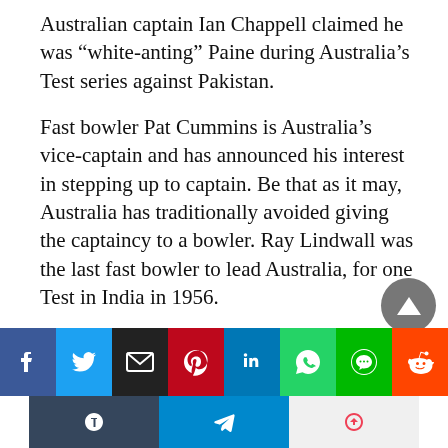Australian captain Ian Chappell claimed he was “white-anting” Paine during Australia’s Test series against Pakistan.
Fast bowler Pat Cummins is Australia’s vice-captain and has announced his interest in stepping up to captain. Be that as it may, Australia has traditionally avoided giving the captaincy to a bowler. Ray Lindwall was the last fast bowler to lead Australia, for one Test in India in 1956.
[Figure (screenshot): Social media share buttons row: Facebook (blue), Twitter (blue), Email (black), Pinterest (red), LinkedIn (blue), WhatsApp (green), Line (green), Reddit (orange); second row: Tumblr (dark blue), Telegram (light blue), Pocket (gray/red icon)]